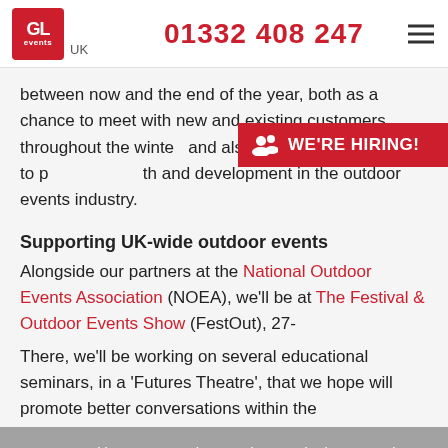GL events UK | 01332 408 247
between now and the end of the year, both as a chance to meet with new and existing customers throughout the winter, and also as part of our initiative to promote growth and development in the outdoor events industry.
Supporting UK-wide outdoor events
Alongside our partners at the National Outdoor Events Association (NOEA), we'll be at The Festival & Outdoor Events Show (FestOut), 27- There, we'll be working on several educational seminars, in a 'Futures Theatre', that we hope will promote better conversations within the
We use cookies to ensure that we give you the best experience on our website. If you continue to use this site we will assume that you are happy with it.